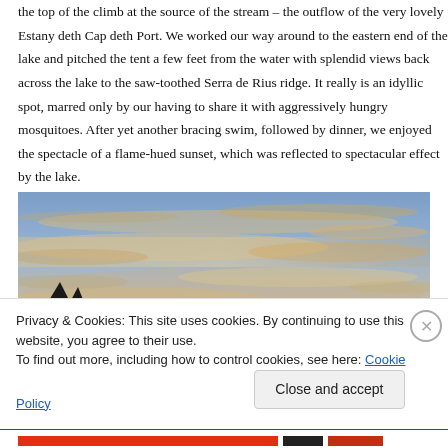the top of the climb at the source of the stream – the outflow of the very lovely Estany deth Cap deth Port. We worked our way around to the eastern end of the lake and pitched the tent a few feet from the water with splendid views back across the lake to the saw-toothed Serra de Rius ridge. It really is an idyllic spot, marred only by our having to share it with aggressively hungry mosquitoes. After yet another bracing swim, followed by dinner, we enjoyed the spectacle of a flame-hued sunset, which was reflected to spectacular effect by the lake.
[Figure (photo): A landscape photo showing a dramatic sky at sunset with wispy clouds lit in orange and golden hues against a blue-grey sky, with dark silhouetted treeline (likely pine trees) along the bottom left edge.]
Privacy & Cookies: This site uses cookies. By continuing to use this website, you agree to their use.
To find out more, including how to control cookies, see here: Cookie Policy
Close and accept